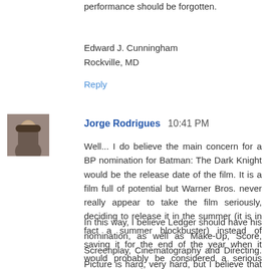performance should be forgotten.
Edward J. Cunningham
Rockville, MD
Reply
[Figure (photo): Avatar photo of Jorge Rodrigues, a man in a suit]
Jorge Rodrigues  10:41 PM
Well... I do believe the main concern for a BP nomination for Batman: The Dark Knight would be the release date of the film. It is a film full of potential but Warner Bros. never really appear to take the film seriously, deciding to release it in the summer (it is in fact a summer blockbuster) instead of saving it for the end of the year when it would probably be considered a serious Oscar contendant.
In this way, I believe Ledger should have his nomination, as well as Make-Up, Score, Screenplay, Cinematography and Directing. Picture is hard, very hard, but I believe that there's no other film that will please so many people this year. Nolan and Ledger will probably win (although Nolan